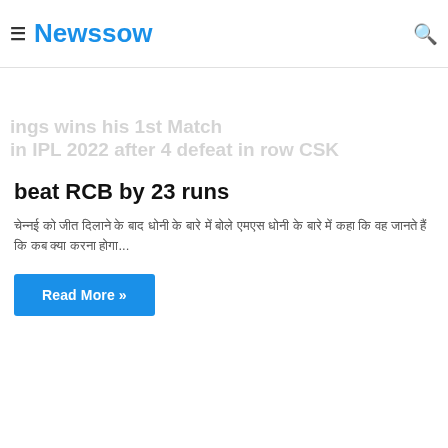Newssow
ings wins his 1st Match in IPL 2022 after 4 defeat in row CSK beat RCB by 23 runs
चेन्नई को जीत दिलाने के बाद धोनी के बारे में बोले एमएस धोनी के बारे में कहा कि वह जानते हैं कि कब क्या करना...
Read More »